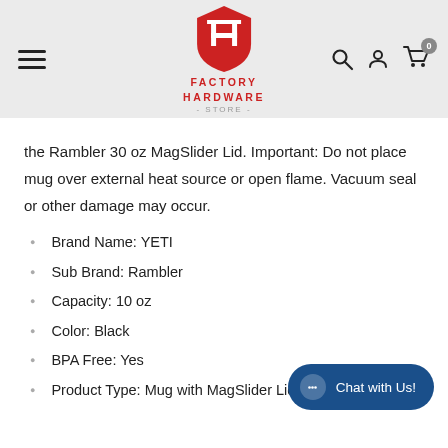Factory Hardware Store
the Rambler 30 oz MagSlider Lid. Important: Do not place mug over external heat source or open flame. Vacuum seal or other damage may occur.
Brand Name: YETI
Sub Brand: Rambler
Capacity: 10 oz
Color: Black
BPA Free: Yes
Product Type: Mug with MagSlider Lid